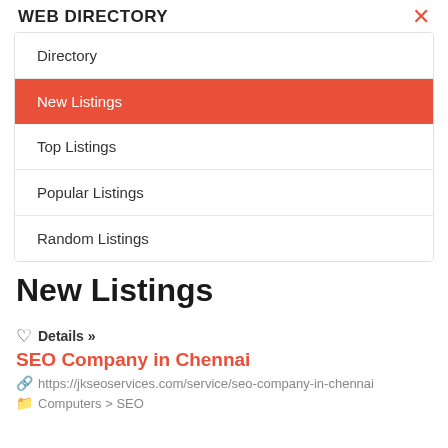WEB DIRECTORY
Directory
New Listings
Top Listings
Popular Listings
Random Listings
New Listings
Details »
SEO Company in Chennai
https://jkseoservices.com/service/seo-company-in-chennai
Computers > SEO